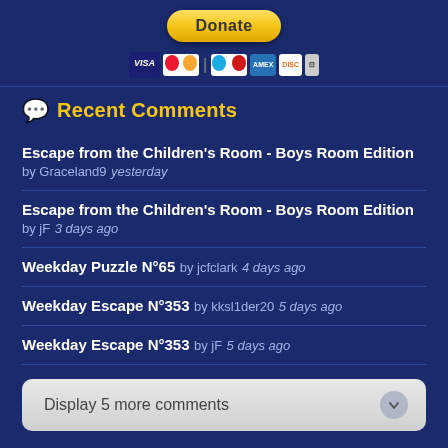[Figure (other): PayPal Donate button with payment card icons (Visa, Mastercard, Maestro, American Express, Discover, and another card)]
Recent Comments
Escape from the Children's Room - Boys Room Edition  by Graceland9  yesterday
Escape from the Children's Room - Boys Room Edition  by jF  3 days ago
Weekday Puzzle N°65  by jcfclark  4 days ago
Weekday Escape N°353  by kksl1der20  5 days ago
Weekday Escape N°353  by jF  5 days ago
Display 5 more comments